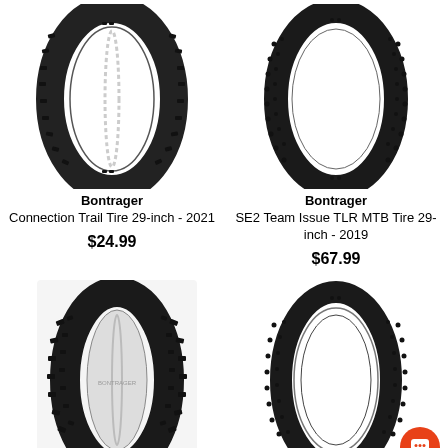[Figure (photo): Bontrager Connection Trail Tire 29-inch product photo showing black mountain bike tire with knobby tread pattern]
Bontrager Connection Trail Tire 29-inch - 2021
$24.99
[Figure (photo): Bontrager SE2 Team Issue TLR MTB Tire 29-inch product photo showing black mountain bike tire with small knob tread pattern]
Bontrager SE2 Team Issue TLR MTB Tire 29-inch - 2019
$67.99
[Figure (photo): Bottom-left mountain bike tire with aggressive knob tread pattern, shown at an angle with white background card]
[Figure (photo): Bottom-right mountain bike tire with small knob tread pattern similar to SE2, shown folded]